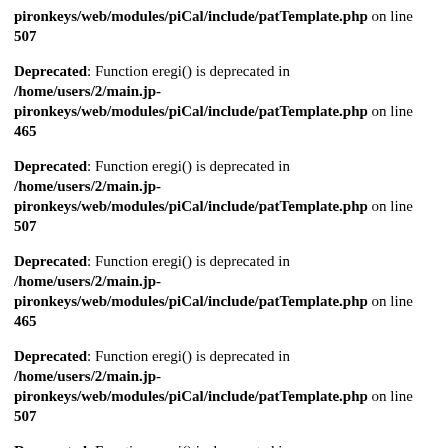pironkeys/web/modules/piCal/include/patTemplate.php on line 507
Deprecated: Function eregi() is deprecated in /home/users/2/main.jp-pironkeys/web/modules/piCal/include/patTemplate.php on line 465
Deprecated: Function eregi() is deprecated in /home/users/2/main.jp-pironkeys/web/modules/piCal/include/patTemplate.php on line 507
Deprecated: Function eregi() is deprecated in /home/users/2/main.jp-pironkeys/web/modules/piCal/include/patTemplate.php on line 465
Deprecated: Function eregi() is deprecated in /home/users/2/main.jp-pironkeys/web/modules/piCal/include/patTemplate.php on line 507
Deprecated: Function eregi() is deprecated in /home/users/2/main.jp-